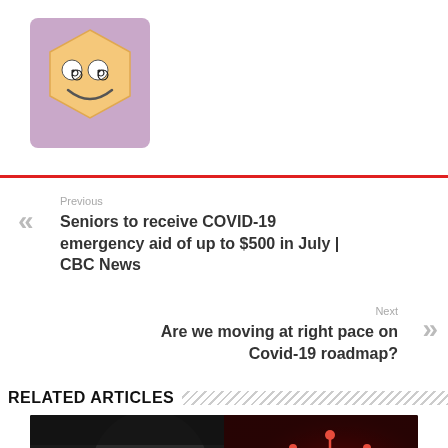[Figure (logo): Hexagonal smiley face emoji logo with spiral eyes on a purple/mauve background square]
Previous
« Seniors to receive COVID-19 emergency aid of up to $500 in July | CBC News
Next
Are we moving at right pace on Covid-19 roadmap? »
RELATED ARTICLES
[Figure (photo): An elderly person wearing a white medical face mask on the left side, and a red COVID-19 virus particle on the right side, on a dark background]